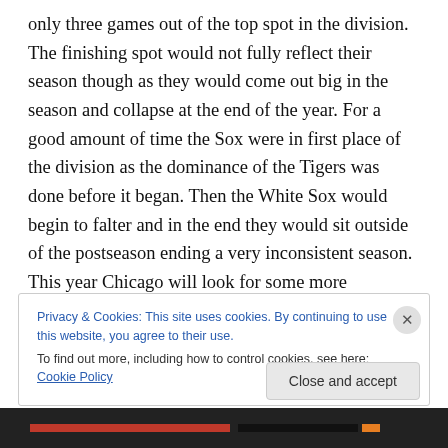only three games out of the top spot in the division. The finishing spot would not fully reflect their season though as they would come out big in the season and collapse at the end of the year. For a good amount of time the Sox were in first place of the division as the dominance of the Tigers was done before it began. Then the White Sox would begin to falter and in the end they would sit outside of the postseason ending a very inconsistent season. This year Chicago will look for some more consistency and try to show that they are no fluke and that the team is actually a contender. They have not made too many changes for the
Privacy & Cookies: This site uses cookies. By continuing to use this website, you agree to their use.
To find out more, including how to control cookies, see here: Cookie Policy
Close and accept